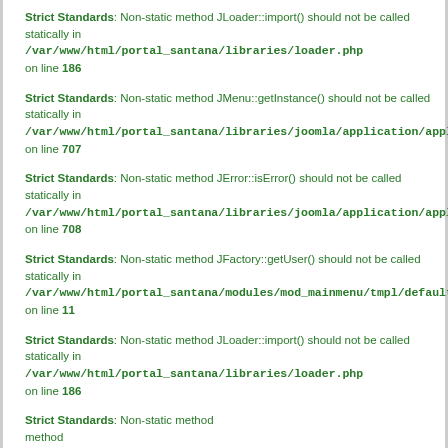Strict Standards: Non-static method JLoader::import() should not be called statically in /var/www/html/portal_santana/libraries/loader.php on line 186
Strict Standards: Non-static method JMenu::getInstance() should not be called statically in /var/www/html/portal_santana/libraries/joomla/application/application.php on line 707
Strict Standards: Non-static method JError::isError() should not be called statically in /var/www/html/portal_santana/libraries/joomla/application/application.php on line 708
Strict Standards: Non-static method JFactory::getUser() should not be called statically in /var/www/html/portal_santana/modules/mod_mainmenu/tmpl/default.php on line 11
Strict Standards: Non-static method JLoader::import() should not be called statically in /var/www/html/portal_santana/libraries/loader.php on line 186
Strict Standards: Non-static method